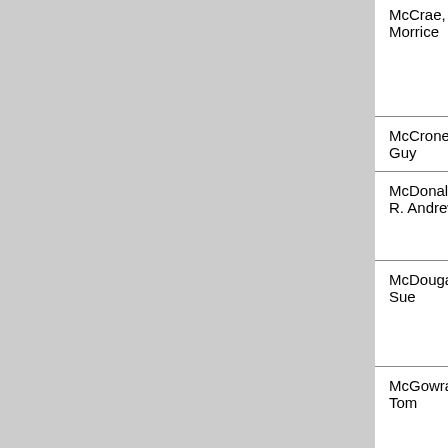| Author | Title | Publisher |
| --- | --- | --- |
| McCrae, Morrice | The National Health Service in Scotland | Tuckwe... |
| McCrone, Guy | Aunt Bel | B&Wpu... |
| McDonald, R. Andrew | Outlaws of Medieval Scotland | Tuckwe... |
| McDougall, Sue | Scottish Teas, Recipes from Scotland | Domino... |
| McGowran, Tom | Beyond the Bamboo Screen | Cualan... |
| McGrath, John | Cheviot, The Stag and the Black, Black Oil, The | Methue... |
| McGregor, Iona | Getting Married in Scotland | NMS P... |
| McGuigan, Neil & Woolf, Alex | The Battle of Carham - A | Berlinn... |